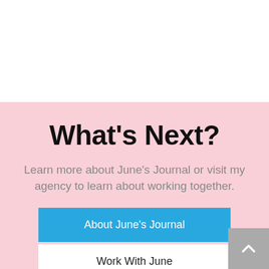What's Next?
Learn more about June's Journal or visit my agency to learn about working together.
About June's Journal
Work With June